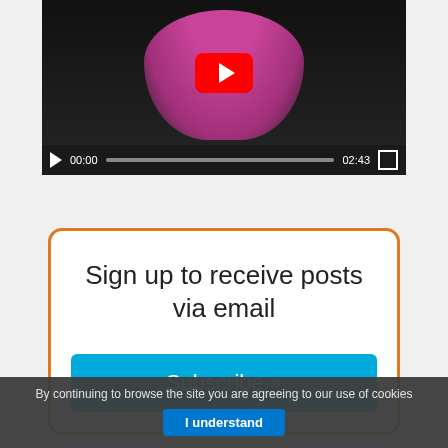[Figure (screenshot): YouTube video player showing a woman in a pink blazer with hands raised, dark curtain background. Controls show play button, time 00:00, progress bar, duration 02:43, and fullscreen button.]
Sign up to receive posts via email
Subscribe »
By continuing to browse the site you are agreeing to our use of cookies
I understand